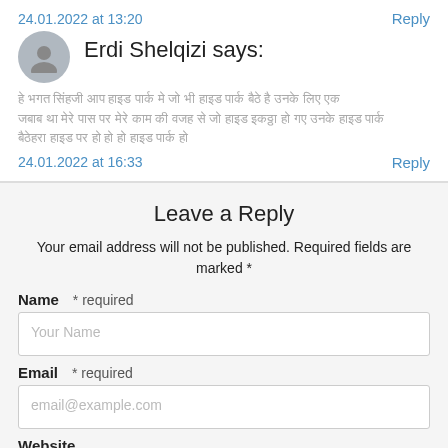24.01.2022 at 13:20
Reply
Erdi Shelqizi says:
[comment body text in non-Latin script]
24.01.2022 at 16:33
Reply
Leave a Reply
Your email address will not be published. Required fields are marked *
Name * required
Email * required
Website